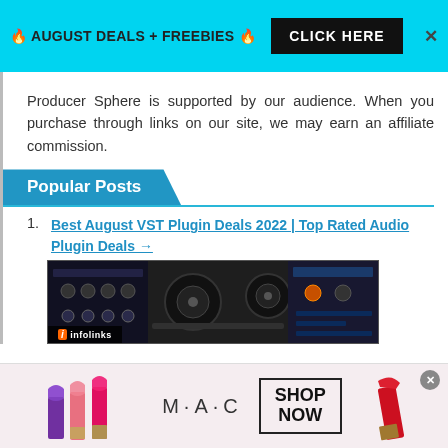🔥 AUGUST DEALS + FREEBIES 🔥  CLICK HERE  ×
Producer Sphere is supported by our audience. When you purchase through links on our site, we may earn an affiliate commission.
Popular Posts
Best August VST Plugin Deals 2022 | Top Rated Audio Plugin Deals →
[Figure (screenshot): Screenshot of audio plugin interface showing synthesizer/studio equipment controls on dark background]
[Figure (advertisement): MAC cosmetics advertisement showing lipsticks on left and right sides, MAC logo in center, SHOP NOW button]